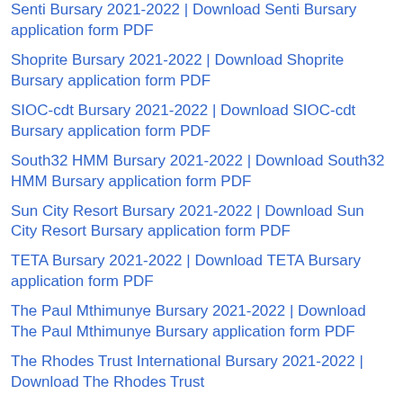Senti Bursary 2021-2022 | Download Senti Bursary application form PDF
Shoprite Bursary 2021-2022 | Download Shoprite Bursary application form PDF
SIOC-cdt Bursary 2021-2022 | Download SIOC-cdt Bursary application form PDF
South32 HMM Bursary 2021-2022 | Download South32 HMM Bursary application form PDF
Sun City Resort Bursary 2021-2022 | Download Sun City Resort Bursary application form PDF
TETA Bursary 2021-2022 | Download TETA Bursary application form PDF
The Paul Mthimunye Bursary 2021-2022 | Download The Paul Mthimunye Bursary application form PDF
The Rhodes Trust International Bursary 2021-2022 | Download The Rhodes Trust